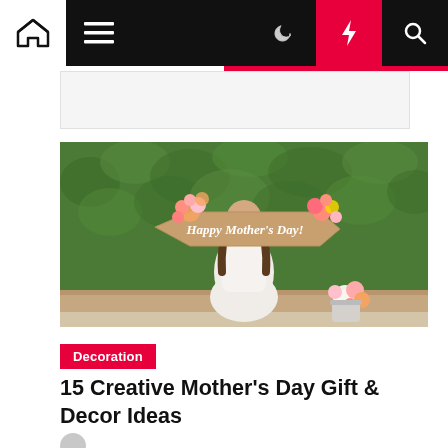Navigation bar with home, menu, dark mode, lightning/trending, and search icons
[Figure (photo): Woman in white dress holding a wooden arrow-shaped sign decorated with flowers reading 'Happy Mother's Day!' in front of a green hedge wall, with a bouquet of flowers on the ground nearby.]
Decoration
15 Creative Mother's Day Gift & Decor Ideas